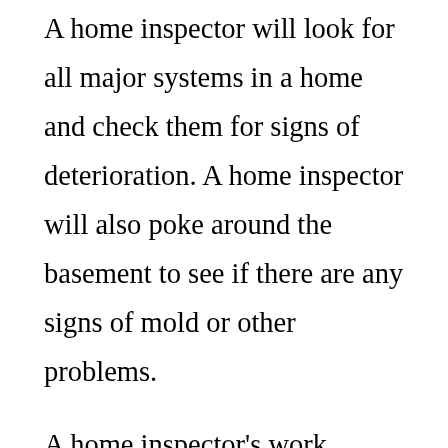A home inspector will look for all major systems in a home and check them for signs of deterioration. A home inspector will also poke around the basement to see if there are any signs of mold or other problems.
A home inspector's work should also consider the experience level of the buyer. While most home inspectors are generalists, there are some situations when they require a more detailed inspection. In these situations, the inspector should consider the experience